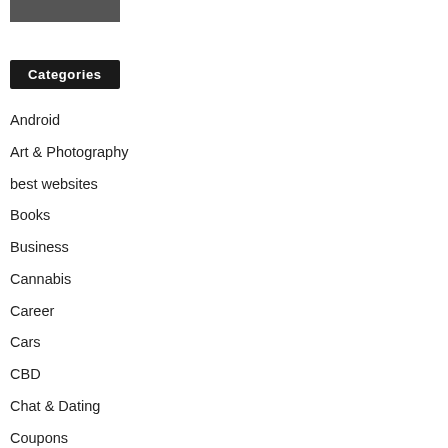[Figure (photo): Partial image at top left, appears to be a cropped photograph]
Categories
Android
Art & Photography
best websites
Books
Business
Cannabis
Career
Cars
CBD
Chat & Dating
Coupons
Cryptocurrency